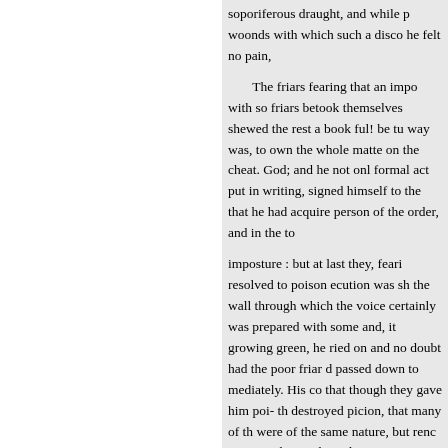soporiferous draught, and while p woonds with which such a disco he felt no pain,

The friars fearing that an impo with so friars betook themselves shewed the rest a book ful! be tu way was, to own the whole matte on the cheat. God; and he not onl formal act put in writing, signed himself to the that he had acquire person of the order, and in the to

imposture : but at last they, feari resolved to poison ecution was sh the wall through which the voice certainly was prepared with some and, it growing green, he ried on and no doubt had the poor friar d passed down to mediately. His co that though they gave him poi- th destroyed picion, that many of th were of the same nature, but renc consary, that so their charms mig would never consent remarkabl